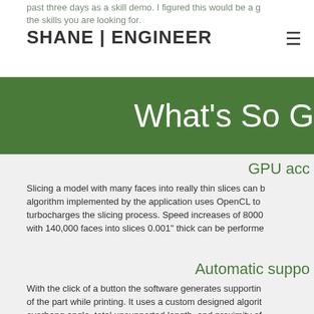past three days as a skill demo. I figured this would be a good way to show the skills you are looking for.
SHANE | ENGINEER
What's So G
GPU acc
Slicing a model with many faces into really thin slices can be very slow. The algorithm implemented by the application uses OpenCL to run on the GPU, which turbocharges the slicing process. Speed increases of 8000% are possible. A model with 140,000 faces into slices 0.001" thick can be performed...
Automatic suppo
With the click of a button the software generates supporting structures for any overhangs of the part while printing. It uses a custom designed algorithm that takes into account overhang angle, total unsupported length, and proximity of other surfaces. Supports taper down to a point so they can be easily removed from the ob...
Slice objects that are too